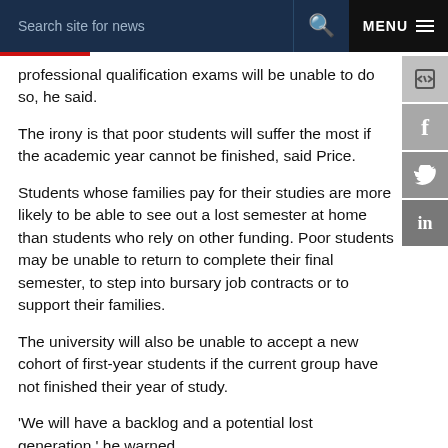Search site for news   MENU
professional qualification exams will be unable to do so, he said.
The irony is that poor students will suffer the most if the academic year cannot be finished, said Price.
Students whose families pay for their studies are more likely to be able to see out a lost semester at home than students who rely on other funding. Poor students may be unable to return to complete their final semester, to step into bursary job contracts or to support their families.
The university will also be unable to accept a new cohort of first-year students if the current group have not finished their year of study.
'We will have a backlog and a potential lost generation,' he warned.